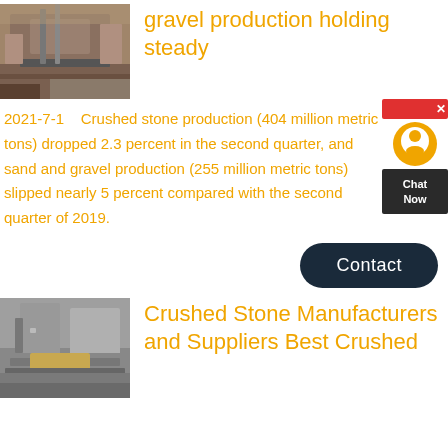[Figure (photo): Industrial gravel/stone production equipment and machinery outdoors]
gravel production holding steady
2021-7-1  Crushed stone production (404 million metric tons) dropped 2.3 percent in the second quarter, and sand and gravel production (255 million metric tons) slipped nearly 5 percent compared with the second quarter of 2019.
[Figure (other): Chat Now widget with support icon]
Contact
[Figure (photo): Industrial crushed stone manufacturing facility with equipment and yellow stone piles]
Crushed Stone Manufacturers and Suppliers Best Crushed